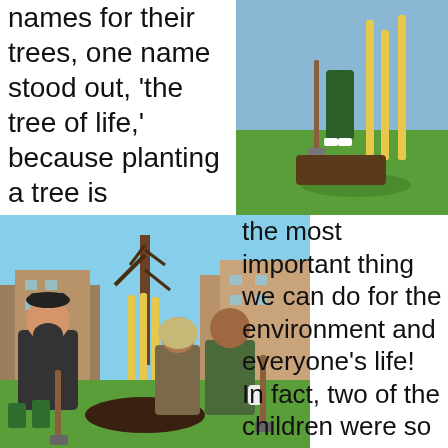names for their trees, one name stood out, ‘the tree of life,’ because planting a tree is
[Figure (photo): Person planting a tree outdoors on green grass, holding a spade, with yellow tree stakes visible]
[Figure (photo): Group of people including a bearded man and two children posing with shovels next to a newly planted tree with yellow stakes, residential buildings in background]
the most important thing we can do for the environment and everyone’s life! In fact, two of the children were so impressed with planting trees they decided